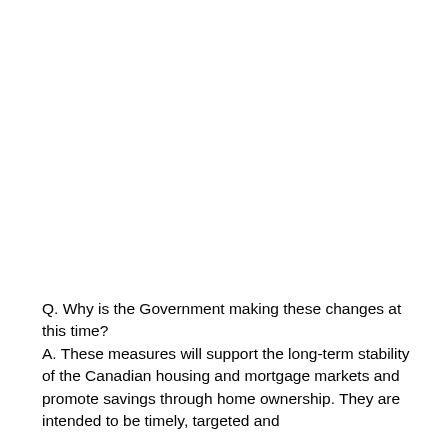Q. Why is the Government making these changes at this time? A. These measures will support the long-term stability of the Canadian housing and mortgage markets and promote savings through home ownership. They are intended to be timely, targeted and